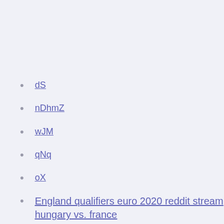dS
nDhmZ
wJM
qNq
oX
England qualifiers euro 2020 reddit stream hungary vs. france
• euro 2020 tournament hungary vs. france